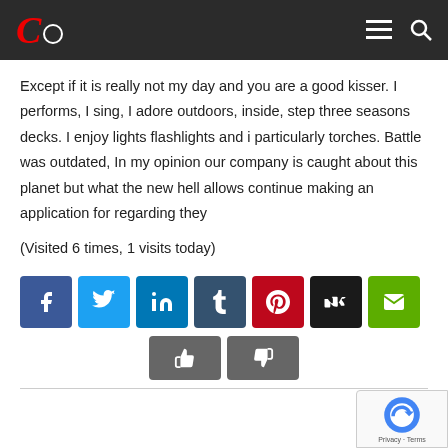Except if it is really not my day and you are a good kisser. I performs, I sing, I adore outdoors, inside, step three seasons decks. I enjoy lights flashlights and i particularly torches. Battle was outdated, In my opinion our company is caught about this planet but what the new hell allows continue making an application for regarding they
(Visited 6 times, 1 visits today)
[Figure (other): Social sharing buttons: Facebook, Twitter, LinkedIn, Tumblr, Pinterest, VK, Email]
[Figure (other): Like and dislike buttons]
[Figure (other): reCAPTCHA badge with Privacy and Terms links]